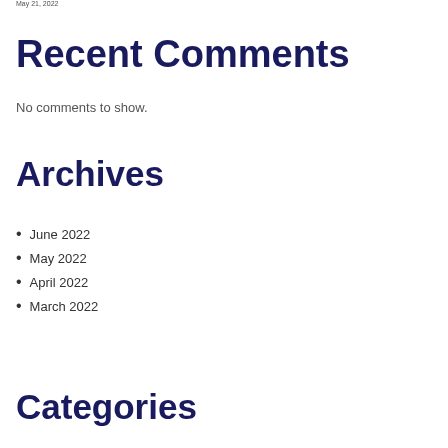May 21, 2022
Recent Comments
No comments to show.
Archives
June 2022
May 2022
April 2022
March 2022
Categories